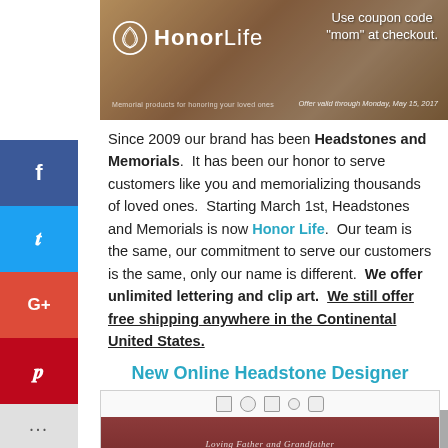[Figure (photo): HonorLife banner advertisement with logo, coupon code 'mom' text, and offer valid through May 15, 2017]
Since 2009 our brand has been Headstones and Memorials.  It has been our honor to serve customers like you and memorializing thousands of loved ones.  Starting March 1st, Headstones and Memorials is now Honor Life.  Our team is the same, our commitment to serve our customers is the same, only our name is different.  We offer unlimited lettering and clip art.  We still offer free shipping anywhere in the Continental United States.
New Online Headstone Designer
[Figure (screenshot): Online headstone designer tool preview showing a red granite headstone with text 'Loving Father and Grandfather KALEB M. PEARSON' and floral ornaments]